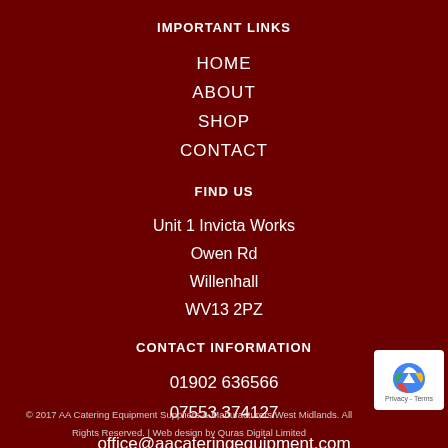IMPORTANT LINKS
HOME
ABOUT
SHOP
CONTACT
FIND US
Unit 1 Invicta Works
Owen Rd
Willenhall
WV13 2PZ
CONTACT INFORMATION
01902 636566
07553 374127
office@aacateringequipment.com
© 2017 AA Catering Equipment Suppliers & Manufacturers West Midlands. All Rights Reserved. | Web design by Quras Digital Limited